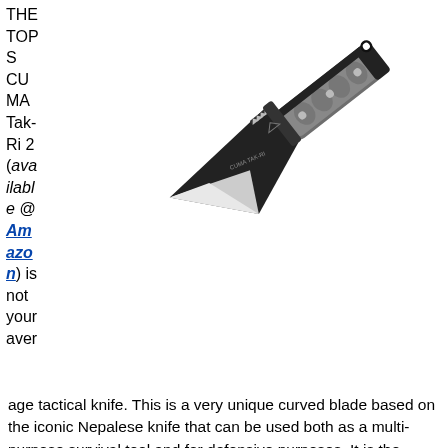THE TOPS CUMA Tak-Ri 2 (available @ Amazon) is not your average tactical knife. This is a very unique curved blade based on the iconic Nepalese knife that can be used both as a multi-purpose survival tool and for defensive purposes. It is the Number 1 traditional blade...
[Figure (photo): TOPS CUMA Tak-Ri 2 tactical knife with black blade and gray patterned handle, shown diagonally]